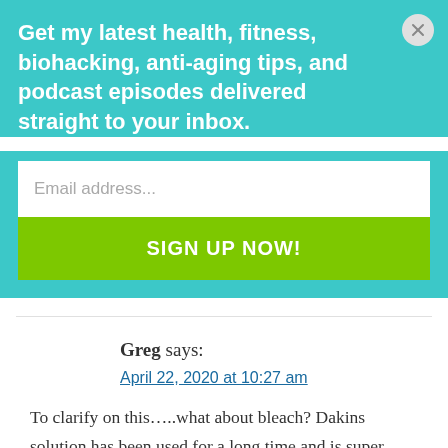Get my latest health, fitness, biohacking, anti-aging tips, and podcast episodes delivered straight to your inbox.
Email address...
SIGN UP NOW!
Greg says:
April 22, 2020 at 10:27 am
To clarify on this…..what about bleach? Dakins solution has been used for a long time and is super safe. Used to treat all sorts of wounds… Could it be used in place of the H202 or is is the same as